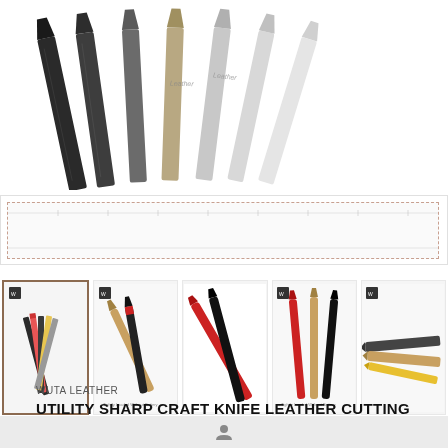[Figure (photo): Fan arrangement of multiple craft knife blades in various finishes: black, bronze/gold, silver, arranged diagonally on white background]
[Figure (photo): Ruler/scale reference image with dashed border outline]
[Figure (photo): Thumbnail gallery row showing 5 product photos of craft knives and blades with WUTA LEATHER branding]
WUTA LEATHER
UTILITY SHARP CRAFT KNIFE LEATHER CUTTING KNIFE | WUTA